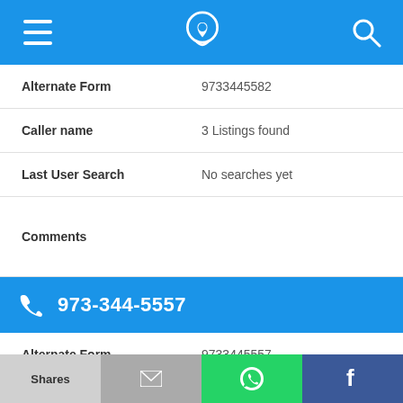Navigation bar with menu, phone/location icon, and search icon
Alternate Form: 9733445582
Caller name: 3 Listings found
Last User Search: No searches yet
Comments:
973-344-5557
Alternate Form: 9733445557
Caller name: Acme Carriers Inc
Shares  [email]  [WhatsApp]  [Facebook]